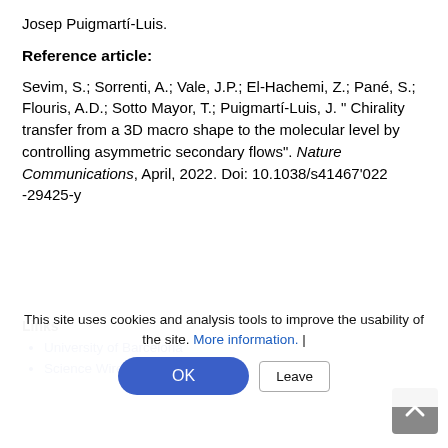Josep Puigmartí-Luis.
Reference article:
Sevim, S.; Sorrenti, A.; Vale, J.P.; El-Hachemi, Z.; Pané, S.; Flouris, A.D.; Sotto Mayor, T.; Puigmartí-Luis, J. " Chirality transfer from a 3D macro shape to the molecular level by controlling asymmetric secondary flows". Nature Communications, April, 2022. Doi: 10.1038/s41467'022 -29425-y
This site uses cookies and analysis tools to improve the usability of the site. More information. |
University of Barcelona
Science Wire